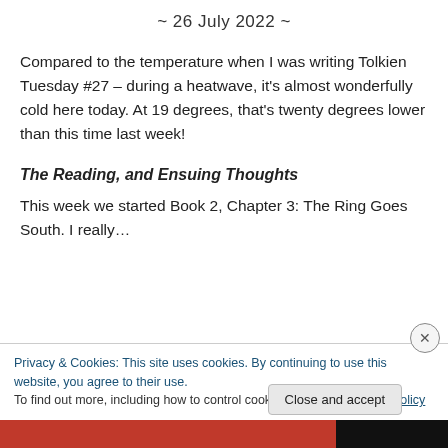~ 26 July 2022 ~
Compared to the temperature when I was writing Tolkien Tuesday #27 – during a heatwave, it's almost wonderfully cold here today. At 19 degrees, that's twenty degrees lower than this time last week!
The Reading, and Ensuing Thoughts
This week we started Book 2, Chapter 3: The Ring Goes South. I really…
Privacy & Cookies: This site uses cookies. By continuing to use this website, you agree to their use.
To find out more, including how to control cookies, see here: Cookie Policy